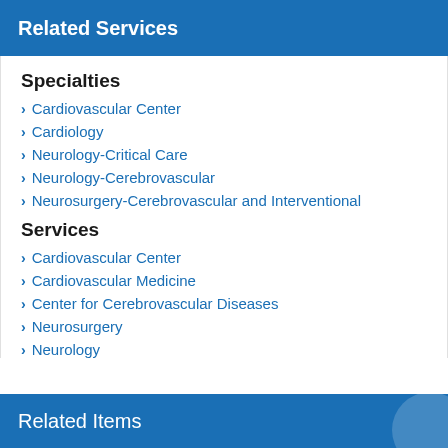Related Services
Specialties
Cardiovascular Center
Cardiology
Neurology-Critical Care
Neurology-Cerebrovascular
Neurosurgery-Cerebrovascular and Interventional
Services
Cardiovascular Center
Cardiovascular Medicine
Center for Cerebrovascular Diseases
Neurosurgery
Neurology
Related Items